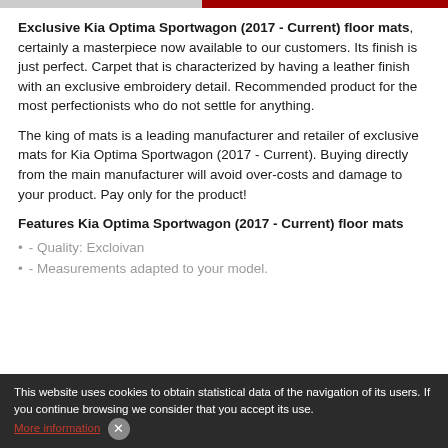Exclusive Kia Optima Sportwagon (2017 - Current) floor mats, certainly a masterpiece now available to our customers. Its finish is just perfect. Carpet that is characterized by having a leather finish with an exclusive embroidery detail. Recommended product for the most perfectionists who do not settle for anything.
The king of mats is a leading manufacturer and retailer of exclusive mats for Kia Optima Sportwagon (2017 - Current). Buying directly from the main manufacturer will avoid over-costs and damage to your product. Pay only for the product!
Features Kia Optima Sportwagon (2017 - Current) floor mats
- Quality: Excloivan
- Measurements adapted to your model.
This website uses cookies to obtain statistical data of the navigation of its users. If you continue browsing we consider that you accept its use. More information ✕